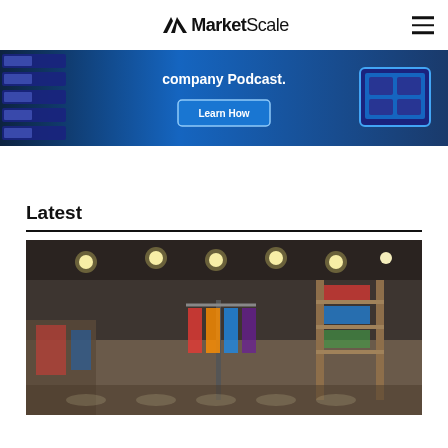MarketScale
[Figure (screenshot): MarketScale promotional banner ad showing 'company Podcast.' text with a 'Learn How' button, tablet device and video thumbnails on blue background]
Latest
[Figure (photo): Interior of a retail clothing store with track lighting on ceiling, clothing racks, shelves, and shoppers browsing]